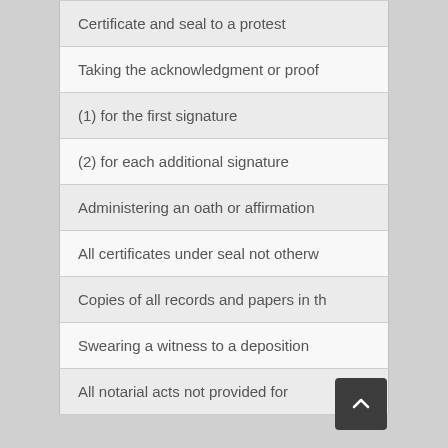| Certificate and seal to a protest |
| Taking the acknowledgment or proof |
| (1) for the first signature |
| (2) for each additional signature |
| Administering an oath or affirmation |
| All certificates under seal not otherw |
| Copies of all records and papers in th |
| Swearing a witness to a deposition |
| All notarial acts not provided for |